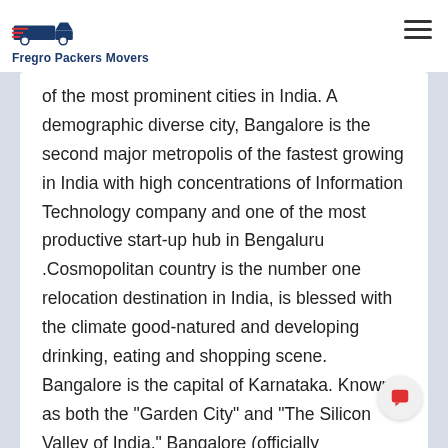Fregro Packers Movers
of the most prominent cities in India. A demographic diverse city, Bangalore is the second major metropolis of the fastest growing in India with high concentrations of Information Technology company and one of the most productive start-up hub in Bengaluru .Cosmopolitan country is the number one relocation destination in India, is blessed with the climate good-natured and developing drinking, eating and shopping scene. Bangalore is the capital of Karnataka. Known as both the "Garden City" and "The Silicon Valley of India," Bangalore (officially "Bengaluru") is a haven Techie this, boasting the highest concentration of IT companies in the IT giants like Infosys, Wipro, Accenture, IBM, etc., have multiple campuses throughout the city. After completion geeking, there are